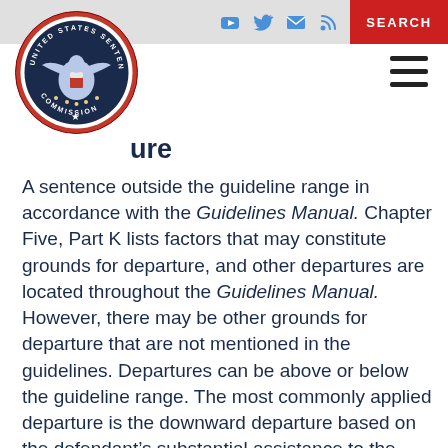[Figure (logo): United States Sentencing Commission circular seal/logo with eagle and text around the border]
…ure
A sentence outside the guideline range in accordance with the Guidelines Manual. Chapter Five, Part K lists factors that may constitute grounds for departure, and other departures are located throughout the Guidelines Manual. However, there may be other grounds for departure that are not mentioned in the guidelines. Departures can be above or below the guideline range. The most commonly applied departure is the downward departure based on the defendant's substantial assistance to the government in the investigation or prosecution of others. The substantial